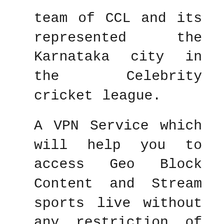team of CCL and its represented the Karnataka city in the Celebrity cricket league.
A VPN Service which will help you to access Geo Block Content and Stream sports live without any restriction of TV channels. To Stream, Sports live I always recommend you to Subscribe ExpressVPN because of their Enjoy unrestricted access worldwide features, Fast Server, Easy Setup on almost all device, 24/7 Hour customer support with live chat along with 30 days money back Guarantee.